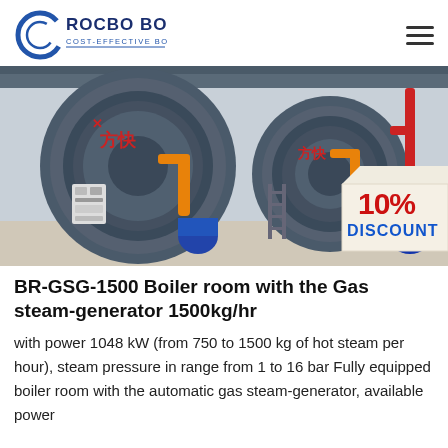ROCBO BOILER — COST-EFFECTIVE BOILER SUPPLIER
[Figure (photo): Industrial gas steam boiler units installed in a boiler room, with Chinese text markings. A red badge in the lower right reads '10% DISCOUNT'.]
BR-GSG-1500 Boiler room with the Gas steam-generator 1500kg/hr
with power 1048 kW (from 750 to 1500 kg of hot steam per hour), steam pressure in range from 1 to 16 bar Fully equipped boiler room with the automatic gas steam-generator, available power